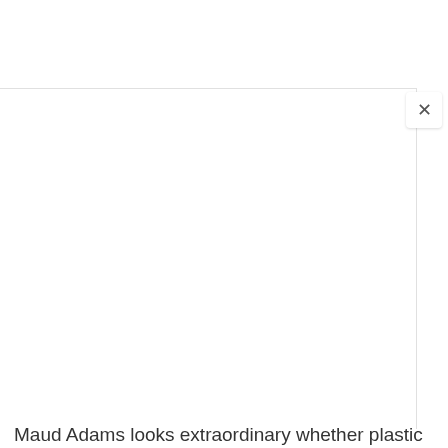[Figure (screenshot): A browser modal/overlay panel with a close (X) button in the top-right corner, shown over a white background. The panel has a light gray top border and a shadow/border on the right. The content area of the panel is blank/white.]
Maud Adams looks extraordinary whether plastic